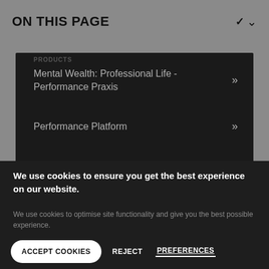ON THIS PAGE
Mental Wealth: Professional Life - Performance Praxis
Performance Platform
We use cookies to ensure you get the best experience on our website.
We use cookies to optimise site functionality and give you the best possible experience.
ACCEPT COOKIES
REJECT
PREFERENCES